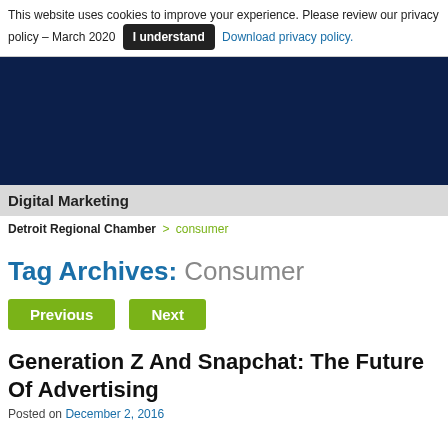This website uses cookies to improve your experience. Please review our privacy policy – March 2020  I understand  Download privacy policy.
[Figure (other): Dark navy blue banner image area]
Digital Marketing
Detroit Regional Chamber > consumer
Tag Archives: Consumer
Previous  Next
Generation Z And Snapchat: The Future Of Advertising
Posted on December 2, 2016